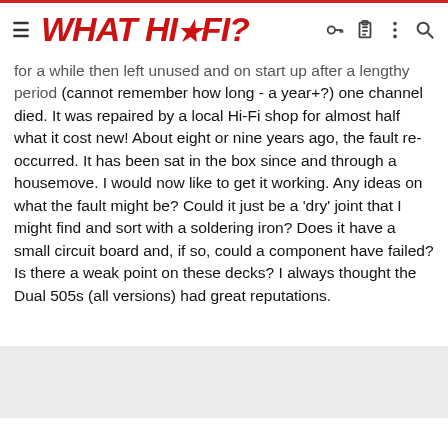WHAT HI-FI?
for a while then left unused and on start up after a lengthy period (cannot remember how long - a year+?) one channel died. It was repaired by a local Hi-Fi shop for almost half what it cost new! About eight or nine years ago, the fault re-occurred. It has been sat in the box since and through a housemove. I would now like to get it working. Any ideas on what the fault might be? Could it just be a 'dry' joint that I might find and sort with a soldering iron? Does it have a small circuit board and, if so, could a component have failed? Is there a weak point on these decks? I always thought the Dual 505s (all versions) had great reputations.